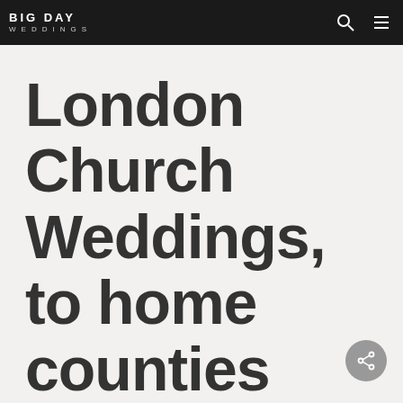BIG DAY WEDDINGS
London Church Weddings, to home counties and